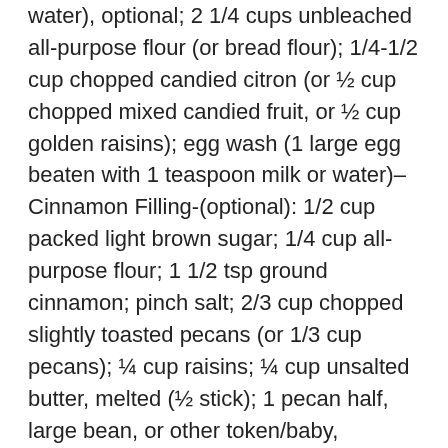water), optional; 2 1/4 cups unbleached all-purpose flour (or bread flour); 1/4-1/2 cup chopped candied citron (or ½ cup chopped mixed candied fruit, or ½ cup golden raisins); egg wash (1 large egg beaten with 1 teaspoon milk or water)–Cinnamon Filling-(optional): 1/2 cup packed light brown sugar; 1/4 cup all-purpose flour; 1 1/2 tsp ground cinnamon; pinch salt; 2/3 cup chopped slightly toasted pecans (or 1/3 cup pecans); ¼ cup raisins; ¼ cup unsalted butter, melted (½ stick); 1 pecan half, large bean, or other token/baby, optional. Icing–1 cup confectioners' sugar; 2 tbsp unsalted butter, softened (¼ stick) (or ¼ cup cream cheese, softened), optional; 1/2 tsp vanilla extract (or ¼ teaspoon almond extract); 1 tbsp milk (buttermilk, fresh lemon juice, or water); a few drops gold food coloring (or 2 to 4 tablespoons yellow colored sugar) optional; a few drops green food coloring (or 2 to 4 tablespoons green colored sugar)